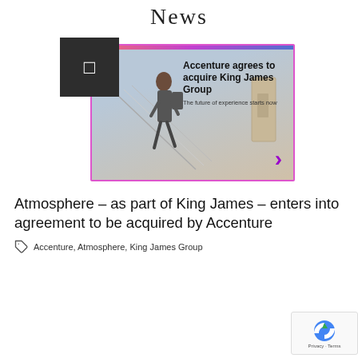News
[Figure (screenshot): Accenture news banner image with text 'Accenture agrees to acquire King James Group – The future of experience starts now' with a purple arrow and a person walking up stairs]
Atmosphere – as part of King James – enters into agreement to be acquired by Accenture
Accenture, Atmosphere, King James Group